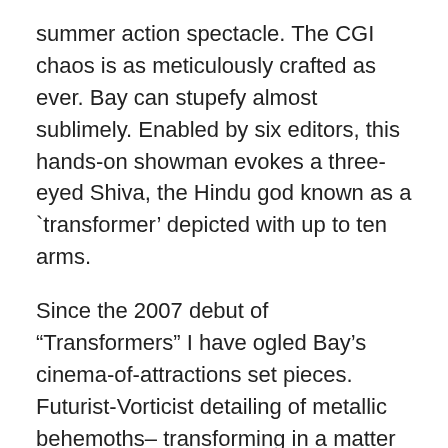summer action spectacle. The CGI chaos is as meticulously crafted as ever. Bay can stupefy almost sublimely. Enabled by six editors, this hands-on showman evokes a three-eyed Shiva, the Hindu god known as a `transformer' depicted with up to ten arms.
Since the 2007 debut of “Transformers” I have ogled Bay’s cinema-of-attractions set pieces. Futurist-Vorticist detailing of metallic behemoths– transforming in a matter of seconds into cars, trucks, motorcycles, helicopters, jets, submarines, boomboxes, laptops, flatscreen televisions, campus hotties, dinosaurs and fire-breathing dragons– startles the eye.
Eardrums endure collateral damage. So do Chicago, Shanghai and other unlucky terrestrial locales where factions of “intelligent mechanical beings” from the civil